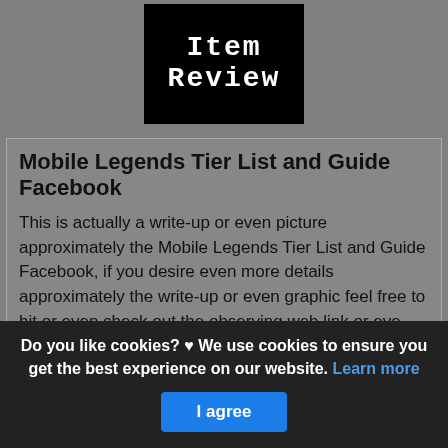[Figure (logo): Item Review logo — white pixel-art text on black background reading 'Item Review']
Mobile Legends Tier List and Guide Facebook
This is actually a write-up or even picture approximately the Mobile Legends Tier List and Guide Facebook, if you desire even more details approximately the write-up or even graphic feel free to hit or even check out the observing web link or even web link .
(Read More)
Source: m.facebook.com Visit Web
Do you like cookies? ♥ We use cookies to ensure you get the best experience on our website. Learn more
I agree